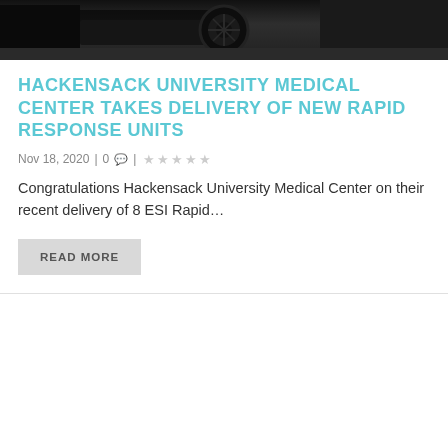[Figure (photo): Dark photo showing underside of a vehicle with a large wheel/tire visible and a rope or cable on the right side, appearing to show an overturned or lifted vehicle]
HACKENSACK UNIVERSITY MEDICAL CENTER TAKES DELIVERY OF NEW RAPID RESPONSE UNITS
Nov 18, 2020 | 0 | ★★★★★
Congratulations Hackensack University Medical Center on their recent delivery of 8 ESI Rapid…
READ MORE